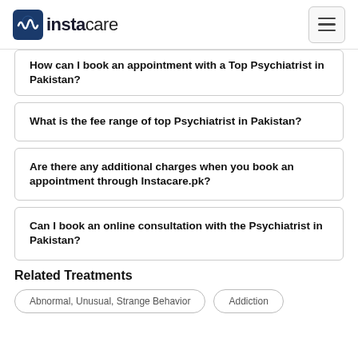instacare
How can I book an appointment with a Top Psychiatrist in Pakistan?
What is the fee range of top Psychiatrist in Pakistan?
Are there any additional charges when you book an appointment through Instacare.pk?
Can I book an online consultation with the Psychiatrist in Pakistan?
Related Treatments
Abnormal, Unusual, Strange Behavior
Addiction